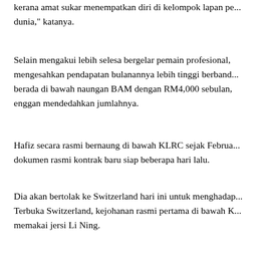kerana amat sukar menempatkan diri di kelompok lapan pe... dunia," katanya.
Selain mengakui lebih selesa bergelar pemain profesional, mengesahkan pendapatan bulanannya lebih tinggi berband... berada di bawah naungan BAM dengan RM4,000 sebulan, enggan mendedahkan jumlahnya.
Hafiz secara rasmi bernaung di bawah KLRC sejak Februa... dokumen rasmi kontrak baru siap beberapa hari lalu.
Dia akan bertolak ke Switzerland hari ini untuk menghadap... Terbuka Switzerland, kejohanan rasmi pertama di bawah K... memakai jersi Li Ning.
"Saya masih dalam proses perbincangan dengan Li Ning. J... masalah, Li Ning akan menjadi penaja rasmi saya bermula... kata Hafiz yang mengakui Li Ning akan menaja barangan b... kejohanan anjuran jenama itu.
Biarpun Hafiz menyuarakan keyakinan untuk mendapatkan... terbaik di kejohanan antarabangsa, dia mungkin berdepan... latihan seperti ketiadaan jurulatih dan rakan penglatin. Na...